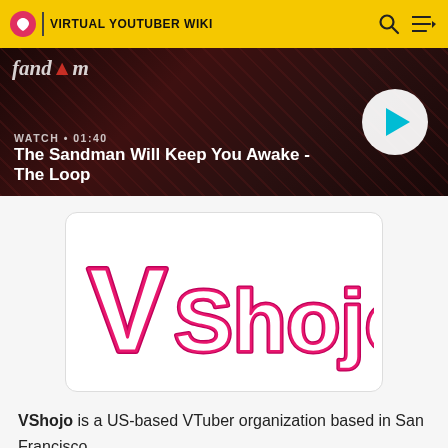VIRTUAL YOUTUBER WIKI
[Figure (screenshot): Fandom video banner showing 'The Sandman Will Keep You Awake - The Loop' with WATCH • 01:40 label and a play button]
[Figure (logo): VShojo logo - pink and white stylized text logo on white background with rounded border]
VShojo is a US-based VTuber organization based in San Francisco.
Unlike Japan-based VTuber organizations, VShojo primarily uses Twitch for livestreaming, with YouTube as a secondary site for highlight distribution and archive purposes.